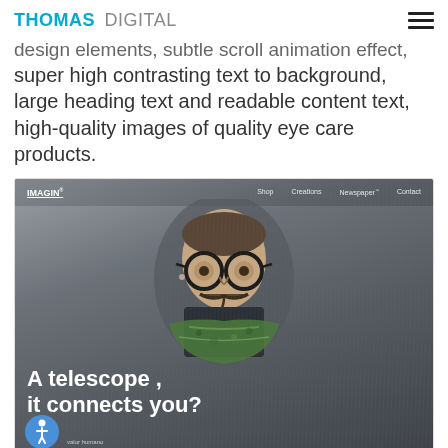THOMAS DIGITAL
design elements, subtle scroll animation effect, super high contrasting text to background, large heading text and readable content text, high-quality images of quality eye care products.
[Figure (screenshot): Screenshot of the IMAGIN website showing a man wearing round glasses and a colorful scarf/bandana, with navigation links (Shop, Creations, Newspaper, Contact) and the headline text 'A telescope, it connects you?' overlaid in white. An accessibility icon appears in the bottom-left corner.]